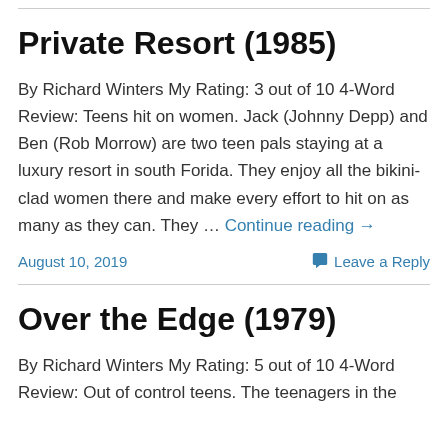Private Resort (1985)
By Richard Winters My Rating: 3 out of 10 4-Word Review: Teens hit on women. Jack (Johnny Depp) and Ben (Rob Morrow) are two teen pals staying at a luxury resort in south Forida. They enjoy all the bikini-clad women there and make every effort to hit on as many as they can. They … Continue reading →
August 10, 2019   Leave a Reply
Over the Edge (1979)
By Richard Winters My Rating: 5 out of 10 4-Word Review: Out of control teens. The teenagers in the